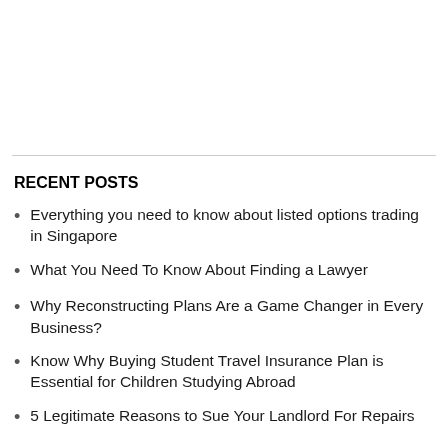RECENT POSTS
Everything you need to know about listed options trading in Singapore
What You Need To Know About Finding a Lawyer
Why Reconstructing Plans Are a Game Changer in Every Business?
Know Why Buying Student Travel Insurance Plan is Essential for Children Studying Abroad
5 Legitimate Reasons to Sue Your Landlord For Repairs